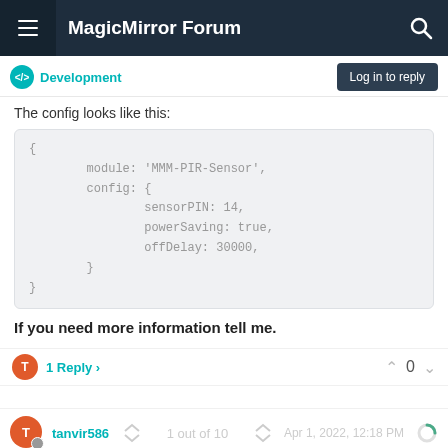MagicMirror Forum
Development
Log in to reply
The config looks like this:
{
        module: 'MMM-PIR-Sensor',
        config: {
                sensorPIN: 14,
                powerSaving: true,
                offDelay: 30000,
        }
}
If you need more information tell me.
1 Reply >
0
tanvir586
1 out of 10
Apr 1, 2022, 12:18 PM